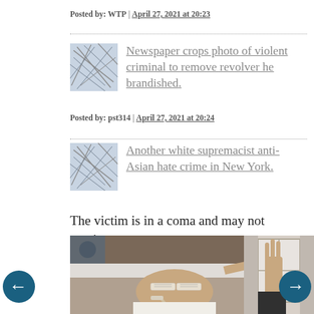Posted by: WTP | April 27, 2021 at 20:23
Newspaper crops photo of violent criminal to remove revolver he brandished.
Posted by: pst314 | April 27, 2021 at 20:24
Another white supremacist anti-Asian hate crime in New York.
The victim is in a coma and may not survive.
[Figure (photo): Hospital patient lying in bed with eyes covered by bandages and medical tubes. Second partial image showing a person's raised hand.]